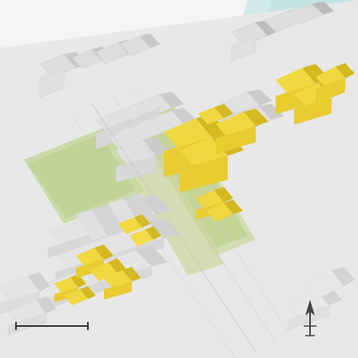[Figure (map): Axonometric/isometric urban planning map showing a waterfront district with 3D building massing. White buildings represent existing structures, yellow/gold highlighted buildings indicate proposed or focal development sites. Green areas represent parks and open spaces. Light blue areas represent water (river/waterway) along the right side. A north arrow is visible in the lower right corner, and a scale bar is in the lower left corner. The map shows a dense urban grid transitioning to a linear waterfront development zone with piers or finger piers extending into the water.]